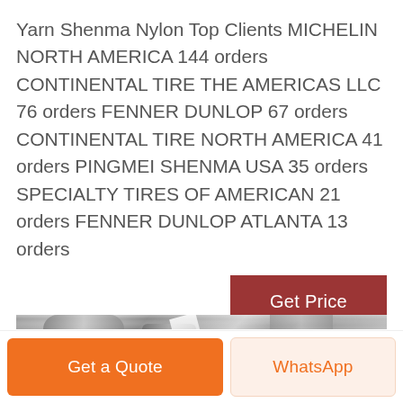Yarn Shenma Nylon Top Clients MICHELIN NORTH AMERICA 144 orders CONTINENTAL TIRE THE AMERICAS LLC 76 orders FENNER DUNLOP 67 orders CONTINENTAL TIRE NORTH AMERICA 41 orders PINGMEI SHENMA USA 35 orders SPECIALTY TIRES OF AMERICAN 21 orders FENNER DUNLOP ATLANTA 13 orders
[Figure (other): Button labeled 'Get Price' with dark red background and white text]
[Figure (photo): Industrial facility interior showing large cylindrical pipes or tanks in grayscale, with overhead lighting visible]
Get a Quote
WhatsApp